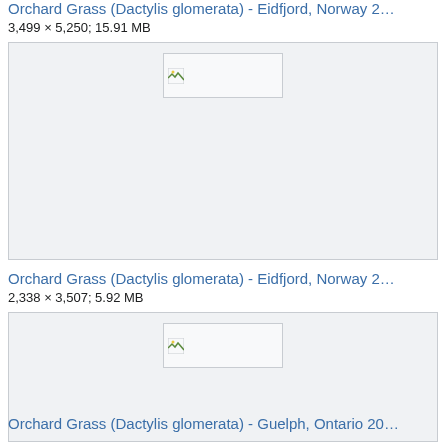Orchard Grass (Dactylis glomerata) - Eidfjord, Norway 2…
3,499 × 5,250; 15.91 MB
[Figure (photo): Broken image thumbnail placeholder for Orchard Grass (Dactylis glomerata) - Eidfjord, Norway 2]
Orchard Grass (Dactylis glomerata) - Eidfjord, Norway 2…
2,338 × 3,507; 5.92 MB
[Figure (photo): Broken image thumbnail placeholder for Orchard Grass (Dactylis glomerata) - Eidfjord, Norway 2]
Orchard Grass (Dactylis glomerata) - Guelph, Ontario 20…